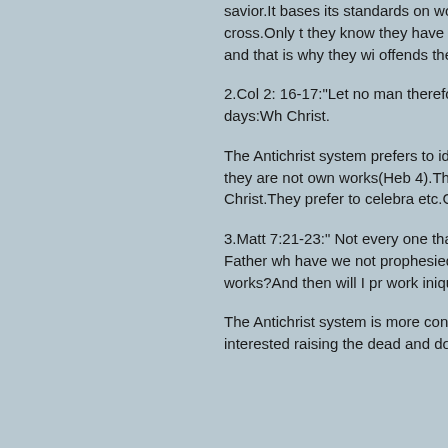savior.It bases its standards on worldly p church of God preaches the cross.Only t they know they have to deny themselves and exalt the self and that is why they wi offends their self pride.That is why there
2.Col 2: 16-17:"Let no man therefore judg the new moon, or of the sabbath days:Wh Christ.
The Antichrist system prefers to identify w keeping the sabbath day but they are not own works(Heb 4).They prefer to put the the cross of Christ.They prefer to celebra etc.Christs true church is more interested
3.Matt 7:21-23:" Not every one that saith but he that doeth the will of my Father wh have we not prophesied in thy name? an many wonderful works?And then will I pr work iniquity".
The Antichrist system is more concerned producing fruit.They are more interested raising the dead and doing outer works r